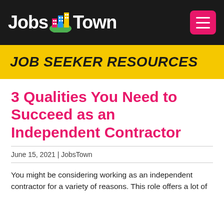Jobs Town
JOB SEEKER RESOURCES
3 Qualities You Need to Succeed as an Independent Contractor
June 15, 2021 | JobsTown
You might be considering working as an independent contractor for a variety of reasons. This role offers a lot of